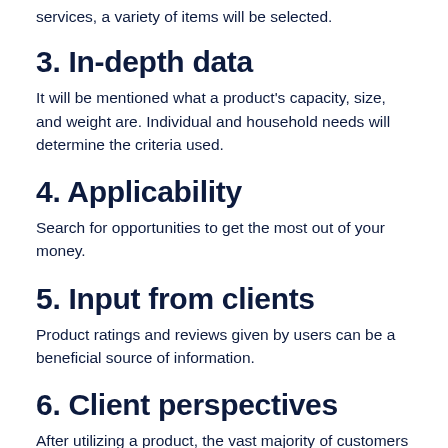services, a variety of items will be selected.
3. In-depth data
It will be mentioned what a product's capacity, size, and weight are. Individual and household needs will determine the criteria used.
4. Applicability
Search for opportunities to get the most out of your money.
5. Input from clients
Product ratings and reviews given by users can be a beneficial source of information.
6. Client perspectives
After utilizing a product, the vast majority of customers produce and review it. You'll be able to